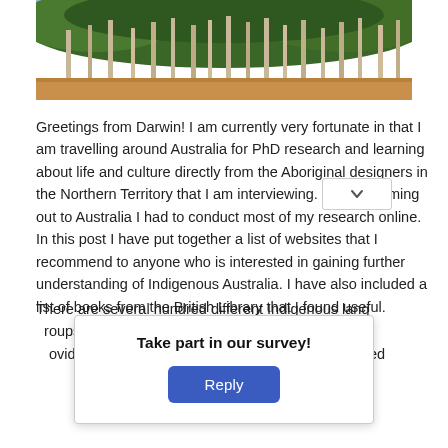[Figure (photo): A photograph of a dense eucalyptus or tropical forest with tall thin trees and green canopy, with a reddish-brown dirt ground visible at the bottom.]
Greetings from Darwin! I am currently very fortunate in that I am travelling around Australia for PhD research and learning about life and culture directly from the Aboriginal designers in the Northern Territory that I am interviewing. Prior to coming out to Australia I had to conduct most of my research online. In this post I have put together a list of websites that I recommend to anyone who is interested in gaining further understanding of Indigenous Australia. I have also included a list of books from the British Library that I found useful.
There are several hundred different Indigenous lang[uage] groups with differing c[ultures and traditions. The following websites pr]ovide more gene[ral information about Indigenous Australia. If] you are interested [in a specific region or group, there are also] websites which will [help with more targeted research.]
Take part in our survey!
Reply